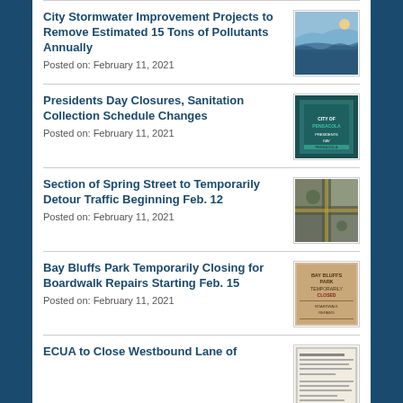City Stormwater Improvement Projects to Remove Estimated 15 Tons of Pollutants Annually
Posted on: February 11, 2021
Presidents Day Closures, Sanitation Collection Schedule Changes
Posted on: February 11, 2021
Section of Spring Street to Temporarily Detour Traffic Beginning Feb. 12
Posted on: February 11, 2021
Bay Bluffs Park Temporarily Closing for Boardwalk Repairs Starting Feb. 15
Posted on: February 11, 2021
ECUA to Close Westbound Lane of